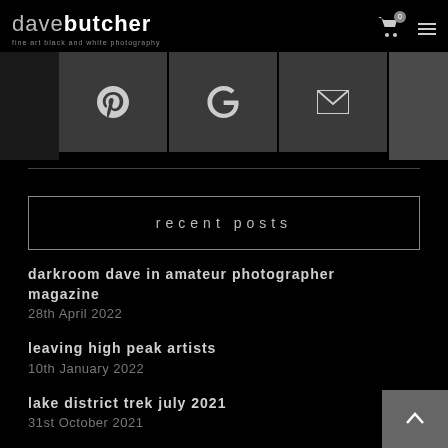davebutcher fine art black and white photography
[Figure (infographic): Social share buttons: Pinterest, Google+, Email]
recent posts
darkroom dave in amateur photographer magazine
28th April 2022
leaving high peak artists
10th January 2022
lake district trek july 2021
31st October 2021
display change in gallery in the gardens buxton